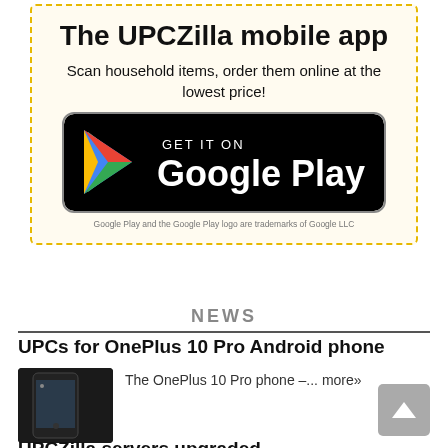The UPCZilla mobile app
Scan household items, order them online at the lowest price!
[Figure (logo): Google Play store badge with Google Play logo (colorful triangle icon) on black background with rounded corners and 'GET IT ON Google Play' text]
Google Play and the Google Play logo are trademarks of Google LLC
NEWS
UPCs for OnePlus 10 Pro Android phone
The OnePlus 10 Pro phone –... more»
UPCZilla servers upgraded